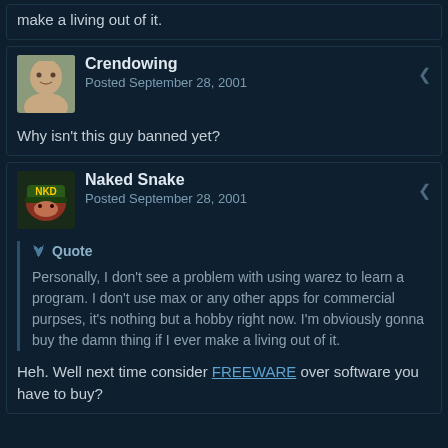make a living out of it.
Crendowing
Posted September 28, 2001
Why isn't this guy banned yet?
Naked Snake
Posted September 28, 2001
Quote
Personally, I don't see a problem with using warez to learn a program. I don't use max or any other apps for commercial purpses, it's nothing but a hobby right now. I'm obviously gonna buy the damn thing if I ever make a living out of it.
Heh. Well next time consider FREEWARE over software you have to buy?